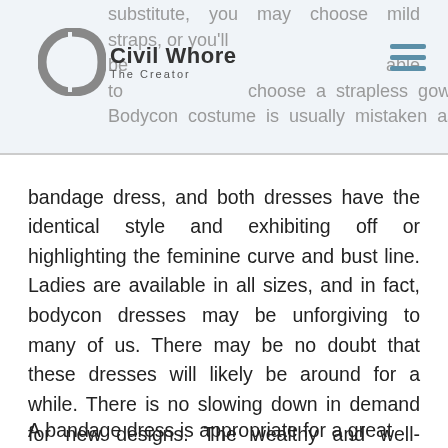Civil Whore The Creator — substitute, you may choose mild straps, or you'll be able to choose a strapless gown. The Bodycon costume is usually mistaken as a
bandage dress, and both dresses have the identical style and exhibiting off or highlighting the feminine curve and bust line. Ladies are available in all sizes, and in fact, bodycon dresses may be unforgiving to many of us. There may be no doubt that these dresses will likely be around for a while. There is no slowing down in demand for new designs. The wealthy and well-known stars and celebrities of today are often noticed out in the city in the newest creations. Quality bandage dresses work for ladies of all shapes, sizes, and age groups.
A bandage dress is appropriate for a great